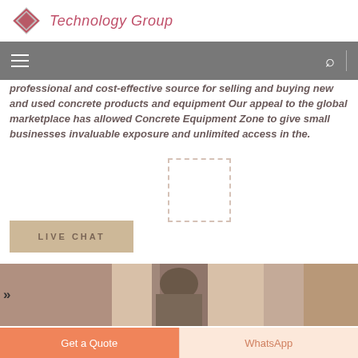Technology Group
professional and cost-effective source for selling and buying new and used concrete products and equipment Our appeal to the global marketplace has allowed Concrete Equipment Zone to give small businesses invaluable exposure and unlimited access in the.
LIVE CHAT
[Figure (photo): Photo of a person at a construction site with scaffolding visible]
Get a Quote
WhatsApp